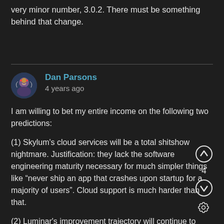very minor number, 3.0.2. There must be something behind that change.
Dan Parsons
4 years ago
I am willing to bet my entire income on the following two predictions:
(1) Skylum's cloud services will be a total shitshow nightmare. Justification: they lack the software engineering maturity necessary for much simpler things like “never ship an app that crashes upon startup for a majority of users”. Cloud support is much harder than that.
(2) Luminar's improvement trajectory will continue to